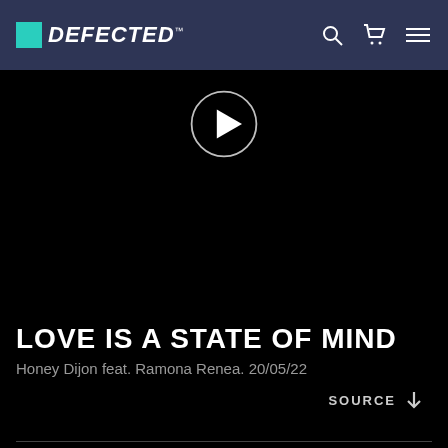DEFECTED
[Figure (screenshot): Black video player area with circular play button in the center]
LOVE IS A STATE OF MIND
Honey Dijon feat. Ramona Renea. 20/05/22
SOURCE ↓